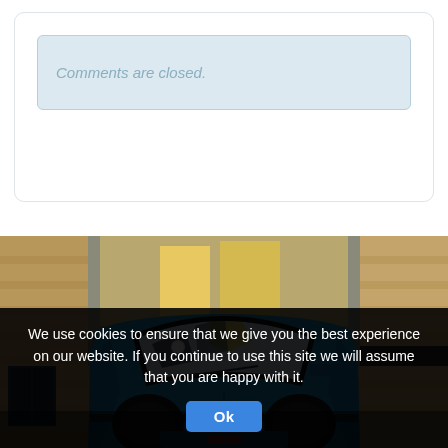Comments are closed.
[Figure (photo): A blue vintage Fiat 500 car photographed from the front, parked in a narrow stone alley between old buildings. The windshield reflects surrounding colorful buildings. Dramatic urban street scene.]
We use cookies to ensure that we give you the best experience on our website. If you continue to use this site we will assume that you are happy with it.
Ok